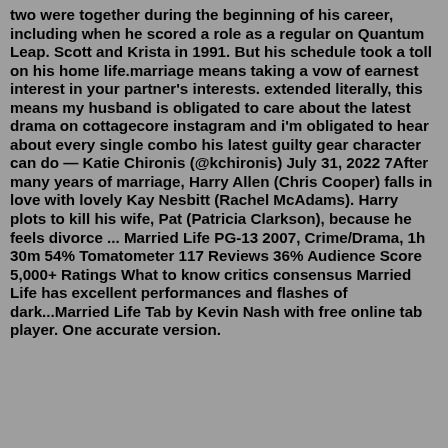two were together during the beginning of his career, including when he scored a role as a regular on Quantum Leap. Scott and Krista in 1991. But his schedule took a toll on his home life.marriage means taking a vow of earnest interest in your partner's interests. extended literally, this means my husband is obligated to care about the latest drama on cottagecore instagram and i'm obligated to hear about every single combo his latest guilty gear character can do — Katie Chironis (@kchironis) July 31, 2022 7After many years of marriage, Harry Allen (Chris Cooper) falls in love with lovely Kay Nesbitt (Rachel McAdams). Harry plots to kill his wife, Pat (Patricia Clarkson), because he feels divorce ... Married Life PG-13 2007, Crime/Drama, 1h 30m 54% Tomatometer 117 Reviews 36% Audience Score 5,000+ Ratings What to know critics consensus Married Life has excellent performances and flashes of dark...Married Life Tab by Kevin Nash with free online tab player. One accurate version.